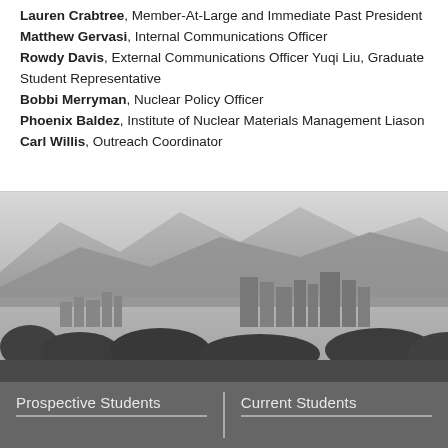Lauren Crabtree, Member-At-Large and Immediate Past President Matthew Gervasi, Internal Communications Officer Rowdy Davis, External Communications Officer Yuqi Liu, Graduate Student Representative Bobbi Merryman, Nuclear Policy Officer Phoenix Baldez, Institute of Nuclear Materials Management Liason Carl Willis, Outreach Coordinator
[Figure (photo): Grayscale cityscape panorama showing an urban skyline with mid-rise buildings, surrounded by trees and vegetation in the foreground, with mountains visible in the background under a hazy sky.]
Prospective Students
Current Students